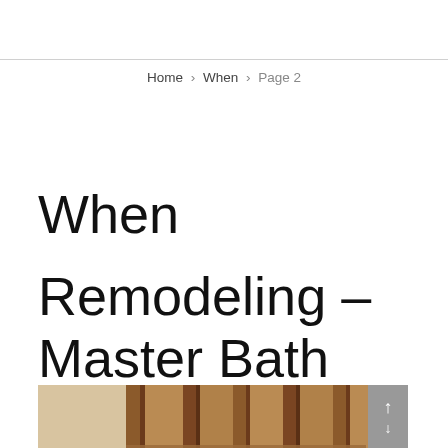Home › When › Page 2
When
Remodeling – Master Bath
[Figure (photo): Photo of bathroom remodeling project showing wooden framing/studs in what appears to be a master bath under construction]